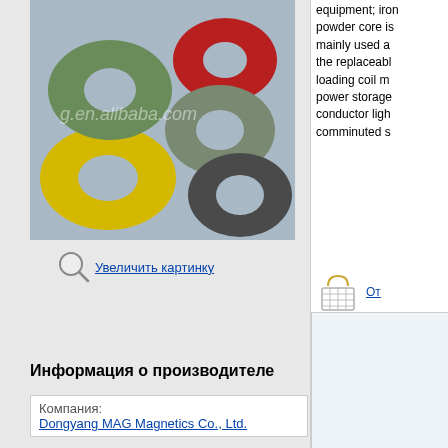[Figure (photo): Colorful toroidal magnetic powder cores (green, red, yellow, dark grey) on a light blue background, with alibaba.com watermark]
Увеличить картинку
equipment; iron powder core is mainly used as the replaceable loading coil m power storage conductor ligh comminuted s
Информация о производителе
| Компания: | Dongyang MAG Magnetics Co., Ltd. |
| Адрес: | Hengdian Electronic Industrial Zone, Dongyang, Zhejiang, China (Mainland) Zip: 322118 |
| Телефон: | +86-579-6311905 |